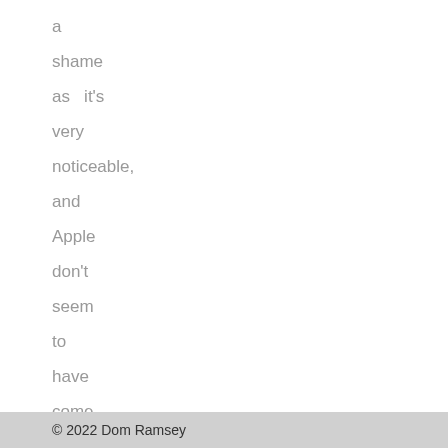a shame as it's very noticeable, and Apple don't seem to have come any
© 2022 Dom Ramsey